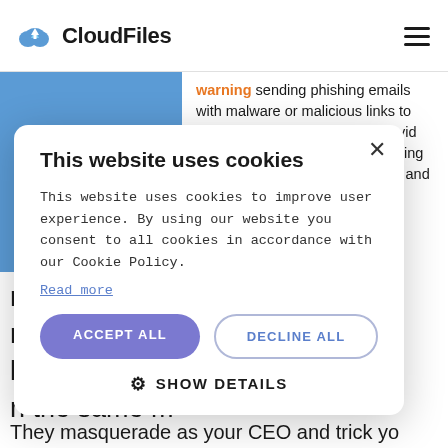CloudFiles
[Figure (screenshot): CloudFiles website with a cookie consent modal overlay. Background shows a cybersecurity-themed page with a blue illustrated banner and article text about phishing/smishing. A white rounded cookie consent dialog is overlaid, with title 'This website uses cookies', body text, ACCEPT ALL and DECLINE ALL buttons, and SHOW DETAILS option.]
This website uses cookies
This website uses cookies to improve user experience. By using our website you consent to all cookies in accordance with our Cookie Policy.
Read more
ACCEPT ALL
DECLINE ALL
SHOW DETAILS
emails with malware or malicious links to fake we They dupe you into provid your personal information Smishing messages includ bank warnings and exclus discounts.
rget   high-p
n. Hackers in
l   address
n the same m
They masquerade as your CEO and trick yo